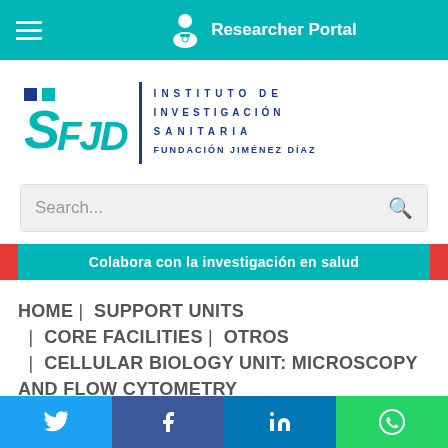Researcher Portal
[Figure (logo): IIS FJD - Instituto de Investigación Sanitaria Fundación Jiménez Díaz logo]
Search...
Colabora con la investigación en salud
HOME | SUPPORT UNITS | CORE FACILITIES | OTROS | CELLULAR BIOLOGY UNIT: MICROSCOPY AND FLOW CYTOMETRY
Twitter | Facebook | LinkedIn | WhatsApp